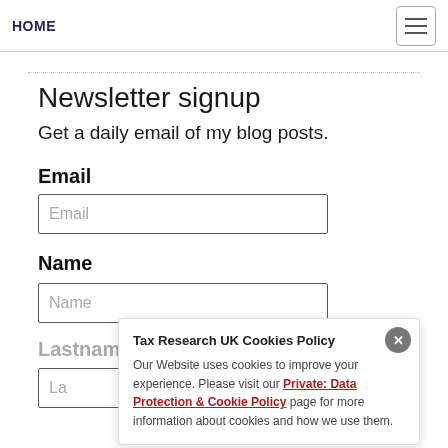HOME
Newsletter signup
Get a daily email of my blog posts.
Email
Email
Name
Name
Lastname
Lastname
Tax Research UK Cookies Policy
Our Website uses cookies to improve your experience. Please visit our Private: Data Protection & Cookie Policy page for more information about cookies and how we use them.
Subscribe